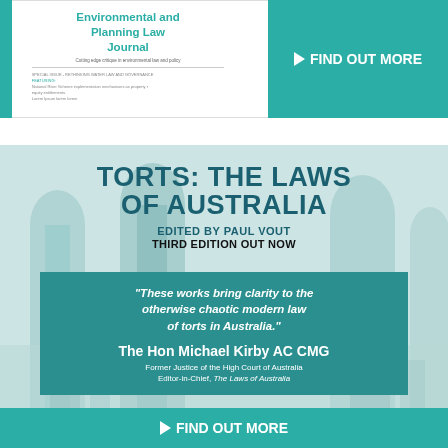[Figure (illustration): Advertisement for the Environmental and Planning Law Journal with teal sidebar and 'FIND OUT MORE' teal button]
[Figure (illustration): Advertisement for 'TORTS: THE LAWS OF AUSTRALIA, Edited by Paul Vout, Third Edition Out Now' with arch/column background image, teal quote box with quote from The Hon Michael Kirby AC CMG, and 'FIND OUT MORE' button]